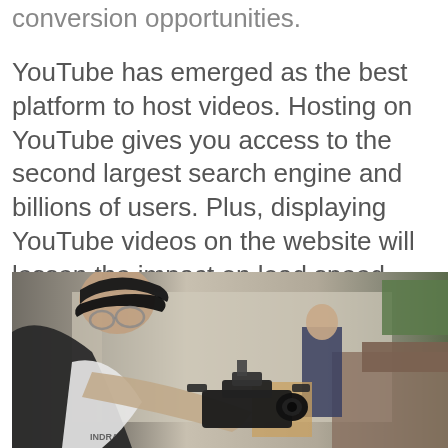conversion opportunities.
YouTube has emerged as the best platform to host videos. Hosting on YouTube gives you access to the second largest search engine and billions of users. Plus, displaying YouTube videos on the website will lessen the impact on load speed.
[Figure (photo): A videographer wearing a dark cap and glasses leaning over a professional camera rig on a gimbal, shooting in an indoor setting. Another person is visible in the background seated near a window.]